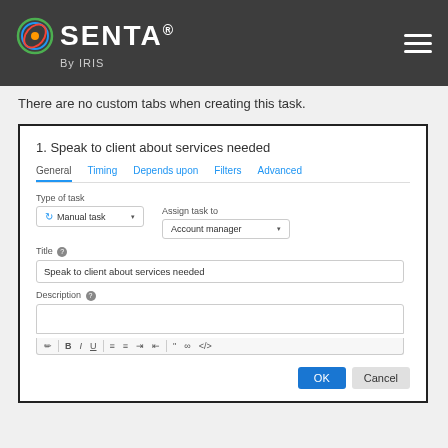[Figure (screenshot): SENTA by IRIS logo in dark header bar with hamburger menu icon]
There are no custom tabs when creating this task.
[Figure (screenshot): Modal dialog titled '1. Speak to client about services needed' with General tab active, fields for Type of task (Manual task dropdown), Assign task to (Account manager dropdown), Title (filled with 'Speak to client about services needed'), Description (empty text area with formatting toolbar), and OK/Cancel buttons.]